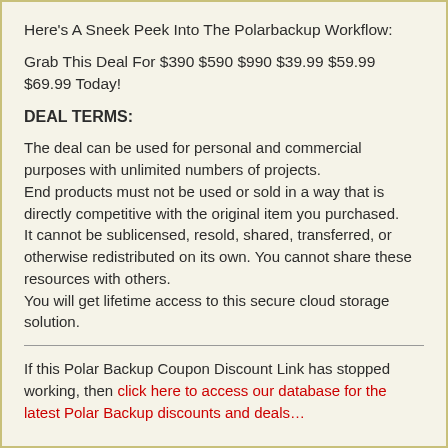Here's A Sneek Peek Into The Polarbackup Workflow:
Grab This Deal For $390 $590 $990 $39.99 $59.99 $69.99 Today!
DEAL TERMS:
The deal can be used for personal and commercial purposes with unlimited numbers of projects.
End products must not be used or sold in a way that is directly competitive with the original item you purchased.
It cannot be sublicensed, resold, shared, transferred, or otherwise redistributed on its own. You cannot share these resources with others.
You will get lifetime access to this secure cloud storage solution.
If this Polar Backup Coupon Discount Link has stopped working, then click here to access our database for the latest Polar Backup discounts and deals…